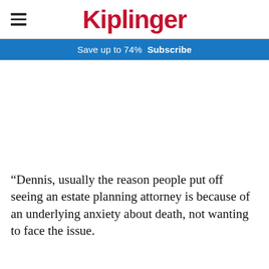Kiplinger
Save up to 74%  Subscribe
“Dennis, usually the reason people put off seeing an estate planning attorney is because of an underlying anxiety about death, not wanting to face the issue.